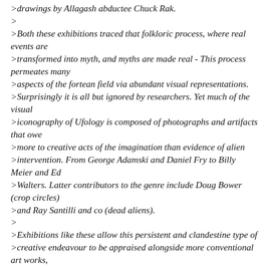>drawings by Allagash abductee Chuck Rak.
>
>Both these exhibitions traced that folkloric process, where real events are
>transformed into myth, and myths are made real - This process permeates many
>aspects of the fortean field via abundant visual representations.
>Surprisingly it is all but ignored by researchers. Yet much of the visual
>iconography of Ufology is composed of photographs and artifacts that owe
>more to creative acts of the imagination than evidence of alien
>intervention. From George Adamski and Daniel Fry to Billy Meier and Ed
>Walters. Latter contributors to the genre include Doug Bower (crop circles)
>and Ray Santilli and co (dead aliens).
>
>Exhibitions like these allow this persistent and clandestine type of
>creative endeavour to be appraised alongside more conventional art works,
>and without resort to that reductive Ufological diagnosis of 'hoax or
>genuine'. The continuity, often over decades, of some of these